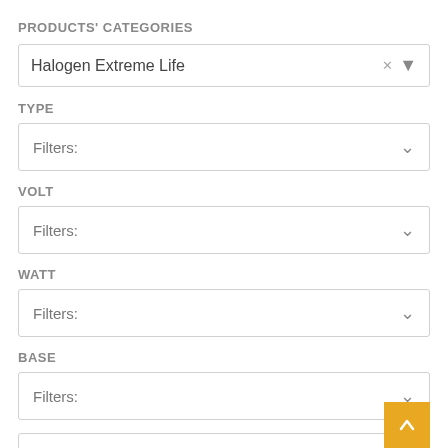PRODUCTS' CATEGORIES
Halogen Extreme Life
TYPE
Filters:
VOLT
Filters:
WATT
Filters:
BASE
Filters: